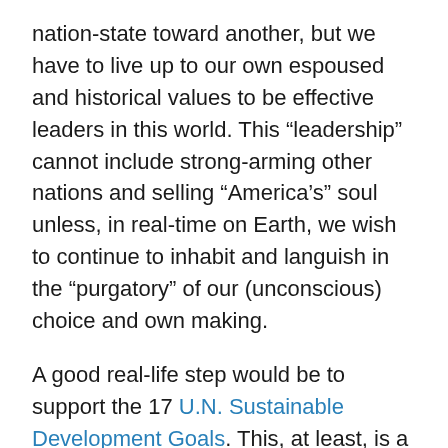nation-state toward another, but we have to live up to our own espoused and historical values to be effective leaders in this world. This “leadership” cannot include strong-arming other nations and selling “America’s” soul unless, in real-time on Earth, we wish to continue to inhabit and languish in the “purgatory” of our (unconscious) choice and own making.
A good real-life step would be to support the 17 U.N. Sustainable Development Goals. This, at least, is a good start. The U.S. is far from supporting and reaching these goals, which focus will put our feelings and thoughts about “nationalism” in a broader, more positively-effecting context. We can also stay apprised of our standing in the Corruption Perception Index published for the past 14 years by International Transparency. Knowing and being